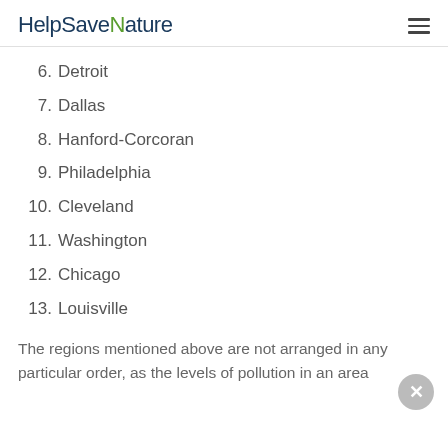HelpSaveNature
6. Detroit
7. Dallas
8. Hanford-Corcoran
9. Philadelphia
10. Cleveland
11. Washington
12. Chicago
13. Louisville
The regions mentioned above are not arranged in any particular order, as the levels of pollution in an area